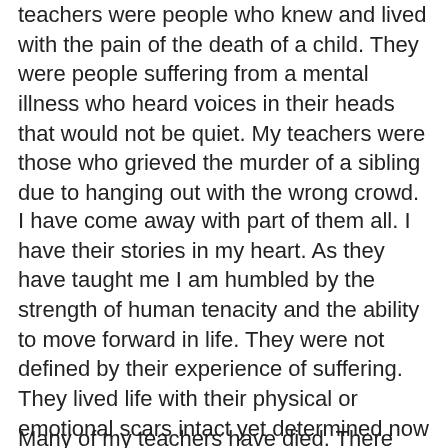teachers were people who knew and lived with the pain of the death of a child. They were people suffering from a mental illness who heard voices in their heads that would not be quiet. My teachers were those who grieved the murder of a sibling due to hanging out with the wrong crowd.
I have come away with part of them all. I have their stories in my heart. As they have taught me I am humbled by the strength of human tenacity and the ability to move forward in life. They were not defined by their experience of suffering. They lived life with their physical or emotional scars intact yet determined now to live one day at a time.
Many of my teachers have died. There